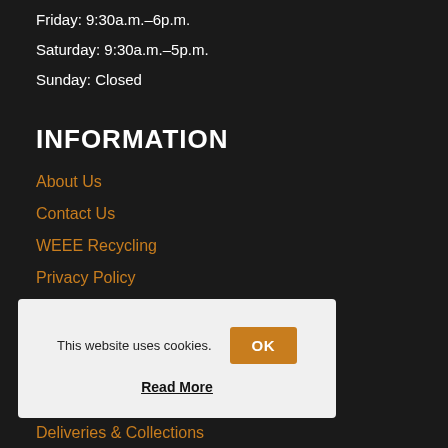Friday: 9:30a.m.–6p.m.
Saturday: 9:30a.m.–5p.m.
Sunday: Closed
INFORMATION
About Us
Contact Us
WEEE Recycling
Privacy Policy
This website uses cookies.
OK
Read More
Deliveries & Collections